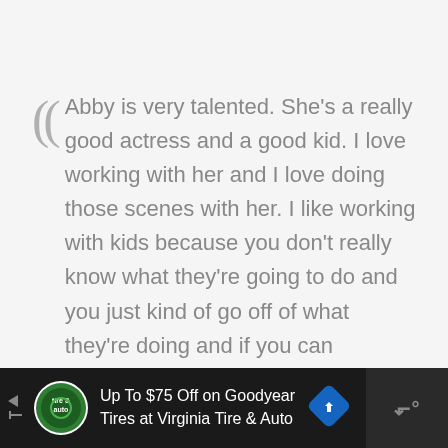Abby is very talented. She's a really good actress and a good kid. I love working with her and I love doing those scenes with her. I like working with kids because you don't really know what they're going to do and you just kind of go off of what they're doing and if you can establish a relationship outside of the filmmaking, just hanging around set, it can be really fun to film scenes with kids.
[Figure (other): Advertisement bar at bottom: Up To $75 Off on Goodyear Tires at Virginia Tire & Auto, with logo and navigation icon]